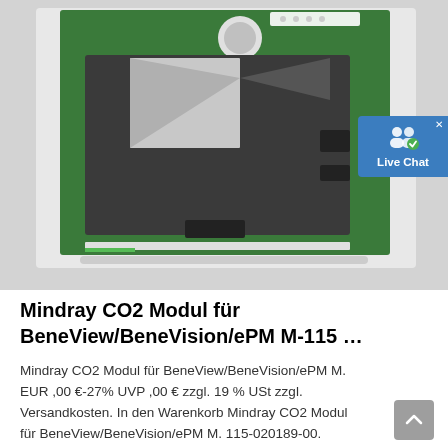[Figure (photo): Photo of a Mindray CO2 module PCB for BeneView/BeneVision/ePM M-115, showing a green circuit board with a dark grey sensor housing on a light grey background.]
Mindray CO2 Modul für BeneView/BeneVision/ePM M-115 …
Mindray CO2 Modul für BeneView/BeneVision/ePM M. EUR ,00 €-27% UVP ,00 € zzgl. 19 % USt zzgl. Versandkosten. In den Warenkorb Mindray CO2 Modul für BeneView/BeneVision/ePM M. 115-020189-00. Artema One-Slot Sidestream CO2 Modul (M02D,